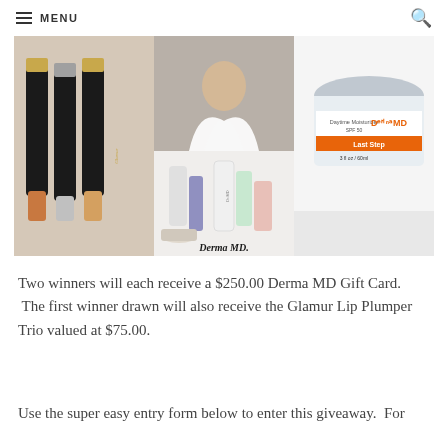MENU
[Figure (photo): Collage of beauty and skincare products including Glamur lip plumper trio bottles, a woman in a white wedding dress, Derma MD Daytime Moisturizer SPF 50 jar, and a flat lay of various Derma MD skincare products with the Derma MD logo.]
Two winners will each receive a $250.00 Derma MD Gift Card.  The first winner drawn will also receive the Glamur Lip Plumper Trio valued at $75.00.
Use the super easy entry form below to enter this giveaway.  For